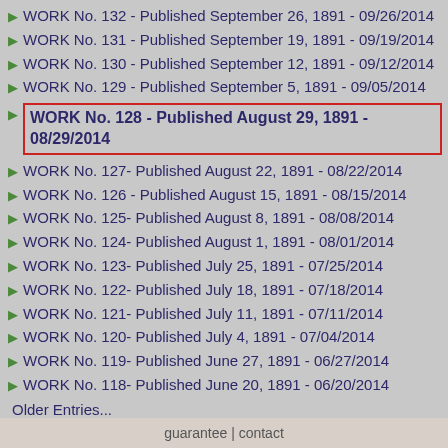WORK No. 132 - Published September 26, 1891 - 09/26/2014
WORK No. 131 - Published September 19, 1891 - 09/19/2014
WORK No. 130 - Published September 12, 1891 - 09/12/2014
WORK No. 129 - Published September 5, 1891 - 09/05/2014
WORK No. 128 - Published August 29, 1891 - 08/29/2014
WORK No. 127- Published August 22, 1891 - 08/22/2014
WORK No. 126 - Published August 15, 1891 - 08/15/2014
WORK No. 125- Published August 8, 1891 - 08/08/2014
WORK No. 124- Published August 1, 1891 - 08/01/2014
WORK No. 123- Published July 25, 1891 - 07/25/2014
WORK No. 122- Published July 18, 1891 - 07/18/2014
WORK No. 121- Published July 11, 1891 - 07/11/2014
WORK No. 120- Published July 4, 1891 - 07/04/2014
WORK No. 119- Published June 27, 1891 - 06/27/2014
WORK No. 118- Published June 20, 1891 - 06/20/2014
Older Entries...
guarantee | contact